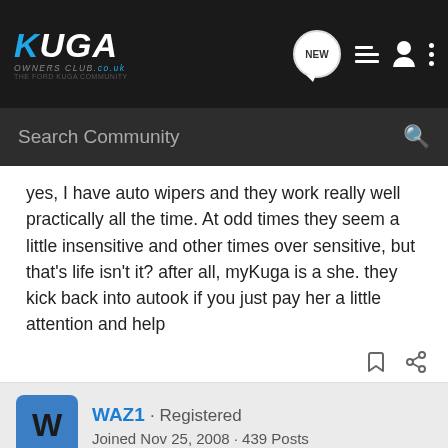Kuga Owners Club .co.uk — Search Community nav bar
yes, I have auto wipers and they work really well practically all the time. At odd times they seem a little insensitive and other times over sensitive, but that's life isn't it? after all, myKuga is a she. they kick back into autook if you just pay her a little attention and help
WAZ1 · Registered
Joined Nov 25, 2008 · 439 Posts
#14 · Jul 9, 2009
I find them a bit annoying as well. My last mondeos worked well